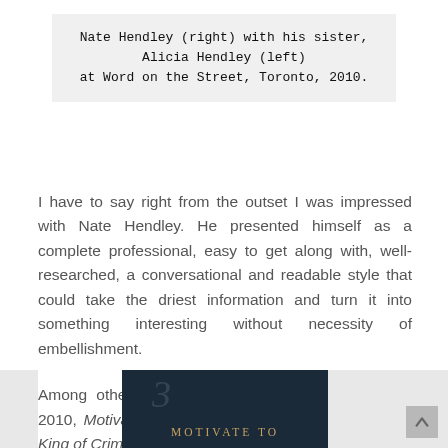Nate Hendley (right) with his sister, Alicia Hendley (left) at Word on the Street, Toronto, 2010.
I have to say right from the outset I was impressed with Nate Hendley. He presented himself as a complete professional, easy to get along with, well-researched, a conversational and readable style that could take the driest information and turn it into something interesting without necessity of embellishment.
Among other titles he offered us, we published in 2010, Motivate to Create, and Al Capone: Chicago's King of Crime.
[Figure (photo): Book cover image for 'Motivate To' (partial view) with dark background and golden text, with the number 3 partially visible]